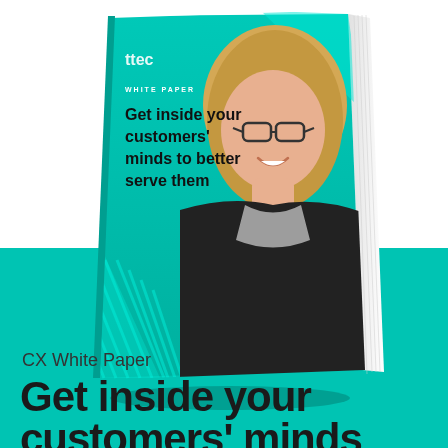[Figure (illustration): 3D rendered book cover for TTEC white paper titled 'Get inside your customers' minds to better serve them', showing a smiling blonde woman wearing glasses and a black jacket, on a teal/white book cover with diagonal stripe design]
CX White Paper
Get inside your customers' minds